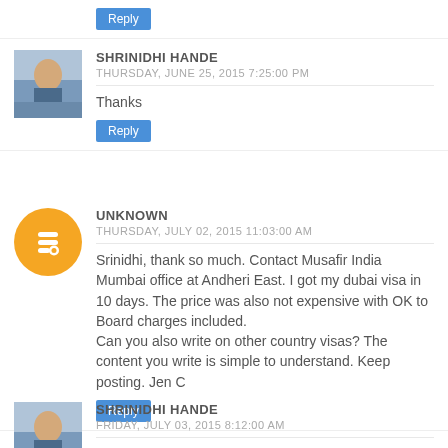Reply button (top)
SHRINIDHI HANDE
THURSDAY, JUNE 25, 2015 7:25:00 PM
Thanks
Reply
UNKNOWN
THURSDAY, JULY 02, 2015 11:03:00 AM
Srinidhi, thank so much. Contact Musafir India Mumbai office at Andheri East. I got my dubai visa in 10 days. The price was also not expensive with OK to Board charges included.
Can you also write on other country visas? The content you write is simple to understand. Keep posting. Jen C
Reply
SHRINIDHI HANDE
FRIDAY, JULY 03, 2015 8:12:00 AM